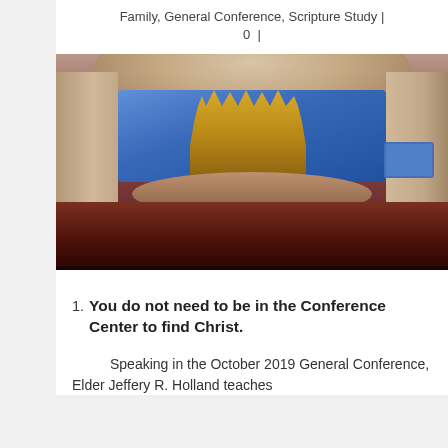Family, General Conference, Scripture Study | 0 |
[Figure (photo): Interior of the Conference Center showing the stage with large golden organ pipes, blue LED screen backdrop, curved wooden seating tiers, and ornate ceiling with circular lighting.]
You do not need to be in the Conference Center to find Christ.
Speaking in the October 2019 General Conference, Elder Jeffery R. Holland teaches